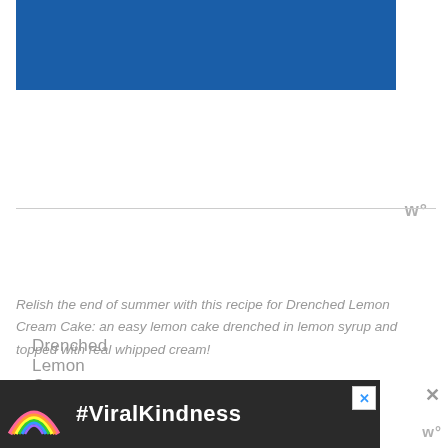[Figure (other): Blue rectangular banner at top of page]
Drenched Lemon Cream Cake
Recipe by: Willow Bird Baking
Yield: 9 servings
Relish the end of summer with this recipe for Drenched Lemon Cream Cake: an easy lemon cake drenched in lemon syrup and topped with real whipped cream!
Cake Ingredients:
1/2 cup butter
[Figure (other): Advertisement banner at bottom of page showing #ViralKindness with a rainbow illustration]